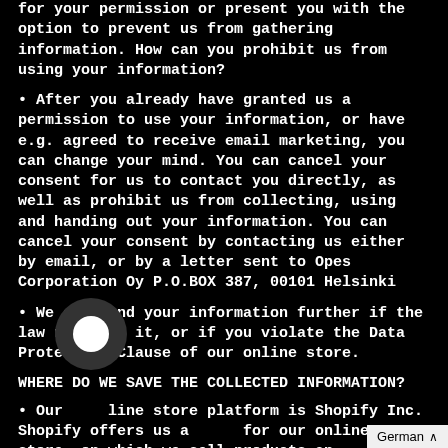for your permission or present you with the option to prevent us from gathering information. How can you prohibit us from using your information?
• After you already have granted us a permission to use your information, or have e.g. agreed to receive email marketing, you can change your mind. You can cancel your consent for us to contact you directly, as well as prohibit us from collecting, using and handing out your information. You can cancel your consent by contacting us either by email, or by a letter sent to Opes Corporation Oy P.O.BOX 387, 00101 Helsinki
• We can hand your information further if the law requires it, or if you violate the Data Protection Clause of our online store.
WHERE DO WE SAVE THE COLLECTED INFORMATION?
• Our online store platform is Shopify Inc. Shopify offers us a [platform] for our online store, on which we sell products and services to you.
• The information gathered of our customers are sa[ved]